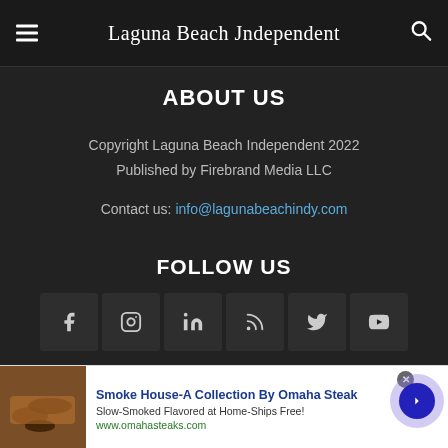Laguna Beach Independent
ABOUT US
Copyright Laguna Beach Independent 2022
Published by Firebrand Media LLC
Contact us: info@lagunabeachindy.com
FOLLOW US
[Figure (infographic): Social media icon buttons row: Facebook, Instagram, LinkedIn, RSS, Twitter, YouTube]
[Figure (infographic): Advertisement banner: Smoke House-A Collection By Omaha Steak. Slow-Smoked Flavored at Home-Ships Free! www.omahasteaks.com]